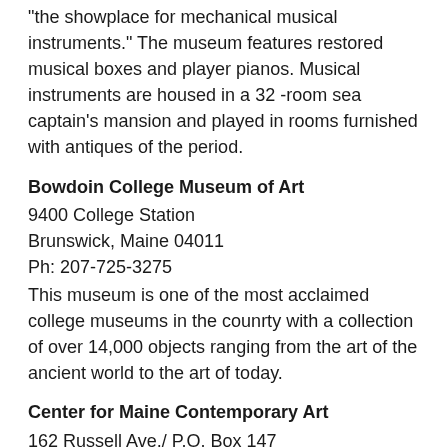"the showplace for mechanical musical instruments." The museum features restored musical boxes and player pianos. Musical instruments are housed in a 32 -room sea captain's mansion and played in rooms furnished with antiques of the period.
Bowdoin College Museum of Art
9400 College Station
Brunswick, Maine 04011
Ph: 207-725-3275
This museum is one of the most acclaimed college museums in the counrty with a collection of over 14,000 objects ranging from the art of the ancient world to the art of today.
Center for Maine Contemporary Art
162 Russell Ave./ P.O. Box 147